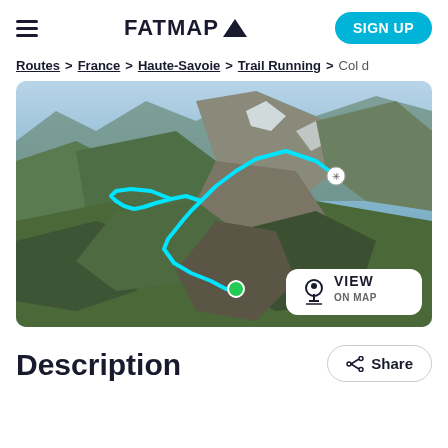FATMAP▲
Routes > France > Haute-Savoie > Trail Running > Col d
[Figure (map): 3D satellite map of an alpine trail route in Haute-Savoie, France. A cyan/turquoise trail line traces across mountain terrain from a start point (marked with a gear/snowflake icon at upper right) to an end point (green circle marker at lower center). 'VIEW ON MAP' button overlaid at bottom right.]
Description
Share